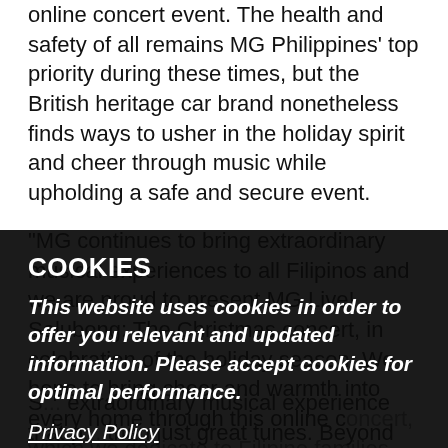online concert event. The health and safety of all remains MG Philippines' top priority during these times, but the British heritage car brand nonetheless finds ways to usher in the holiday spirit and cheer through music while upholding a safe and secure event.

"MG continues to bring extraordinary musical experiences to all Filipinos and we are proud to present MG Live! Salubong: The Christmas concert, in celebration of the holiday season. We hope to bring cheer and warmth into every home through this online concert, which we dedicate to Filipino families here and abroad" says Atty. Alberto B. Arcilla, President and ... with music since day one, and we are truly happy and excited to be able to stage Salubong—a truly one-of-a-kind ... our partners, for the enjoyment of all Filipinos this ...
COOKIES
This website uses cookies in order to offer you relevant and updated information. Please accept cookies for optimal performance.
Privacy Policy
Allow
... extraordinary musical experience that p... than just great tunes. Beyond the power of the music, enjoy loads of fun content like behind the scenes and ...